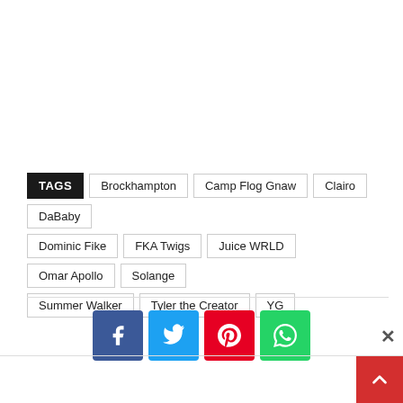TAGS Brockhampton Camp Flog Gnaw Clairo DaBaby Dominic Fike FKA Twigs Juice WRLD Omar Apollo Solange Summer Walker Tyler the Creator YG
[Figure (infographic): Social sharing buttons: Facebook (blue), Twitter (light blue), Pinterest (red), WhatsApp (green)]
[Figure (infographic): Back to top button (red, bottom right) and close button (X)]